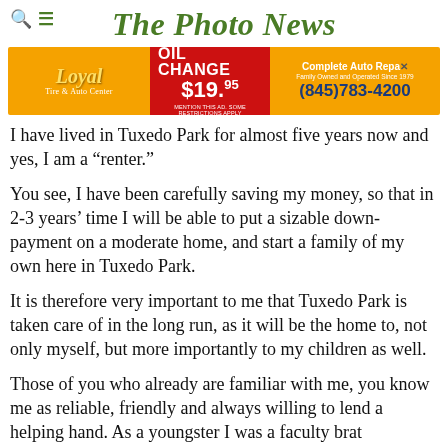The Photo News
[Figure (other): Advertisement banner for Loyal Tire & Auto Center. OIL CHANGE $19.95. Complete Auto Repair. Family Owned and Operated Since 1979. (845)783-4200. MENTION THIS AD. SOME RESTRICTIONS APPLY.]
I have lived in Tuxedo Park for almost five years now and yes, I am a “renter.”
You see, I have been carefully saving my money, so that in 2-3 years’ time I will be able to put a sizable down-payment on a moderate home, and start a family of my own here in Tuxedo Park.
It is therefore very important to me that Tuxedo Park is taken care of in the long run, as it will be the home to, not only myself, but more importantly to my children as well.
Those of you who already are familiar with me, you know me as reliable, friendly and always willing to lend a helping hand. As a youngster I was a faculty brat